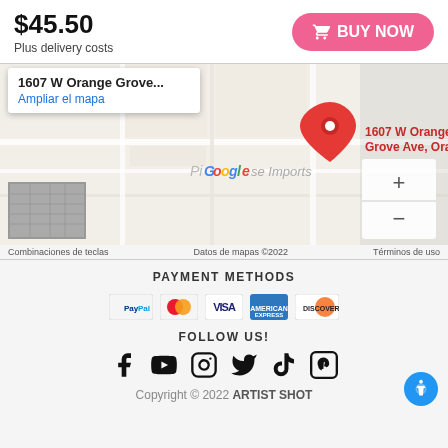$45.50
Plus delivery costs
BUY NOW
[Figure (map): Google Maps screenshot showing location at 1607 W Orange Grove Ave, Orange. Map shows a pin marker, zoom controls (+/-), satellite thumbnail, and labels: Combinaciones de teclas, Datos de mapas ©2022, Términos de uso, PiGooglee Imports]
PAYMENT METHODS
[Figure (other): Payment method icons: PayPal, Mastercard, Visa, American Express, Discover]
FOLLOW US!
[Figure (other): Social media icons: Facebook, YouTube, Instagram, Twitter, TikTok, Pinterest]
Copyright © 2022 ARTIST SHOT